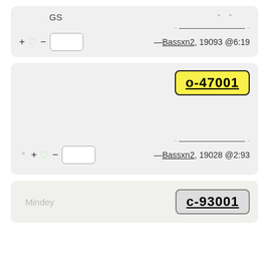GS
"  "
- _____ -
+ ♡ -  [ ]   —Bassxn2, 19093 @6:19
o-47001
- _____ -
* + ♡ -  [ ]   —Bassxn2, 19028 @2:93
Mindey
c-93001